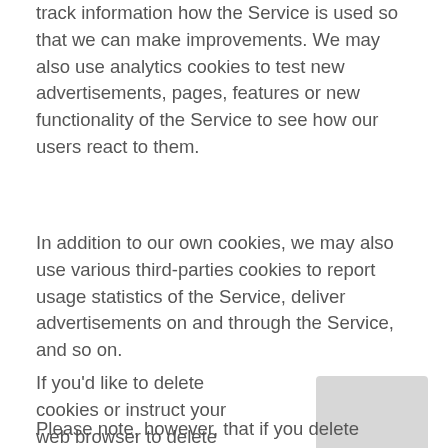track information how the Service is used so that we can make improvements. We may also use analytics cookies to test new advertisements, pages, features or new functionality of the Service to see how our users react to them.
In addition to our own cookies, we may also use various third-parties cookies to report usage statistics of the Service, deliver advertisements on and through the Service, and so on.
If you'd like to delete cookies or instruct your web browser to delete or refuse cookies, please visit the help pages of your web browser.
Please note, however, that if you delete cookies or